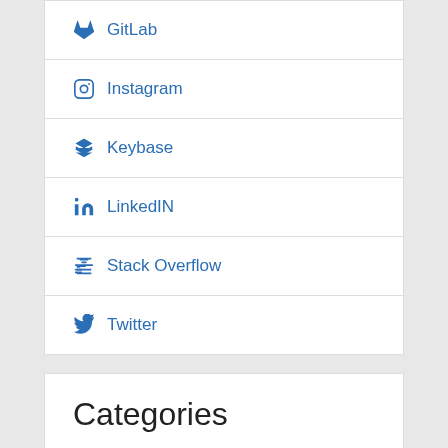GitLab
Instagram
Keybase
LinkedIN
Stack Overflow
Twitter
Categories
Ansible
AWS